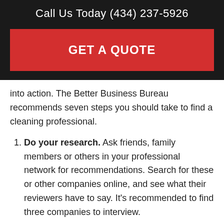Call Us Today (434) 237-5926
GET A QUOTE
into action. The Better Business Bureau recommends seven steps you should take to find a cleaning professional.
Do your research. Ask friends, family members or others in your professional network for recommendations. Search for these or other companies online, and see what their reviewers have to say. It’s recommended to find three companies to interview.
Interview your candidates. Interviews are a great opportunity to meet the individual(s) who will be